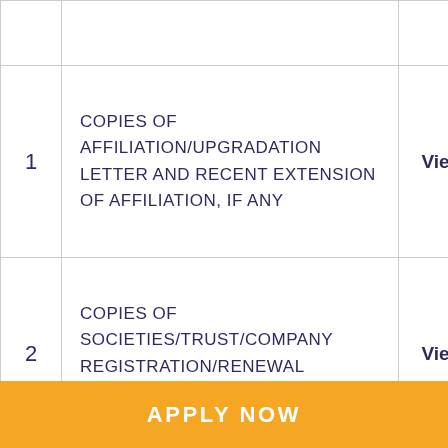| # | Description | Action |
| --- | --- | --- |
| 1 | COPIES OF AFFILIATION/UPGRADATION LETTER AND RECENT EXTENSION OF AFFILIATION, IF ANY | View |
| 2 | COPIES OF SOCIETIES/TRUST/COMPANY REGISTRATION/RENEWAL CERTIFICATE, AS APPLICABLE | View |
| 3 | COPY OF NO OBJECTION CERTIFICATE (NOC) ISSUED, | View |
APPLY NOW